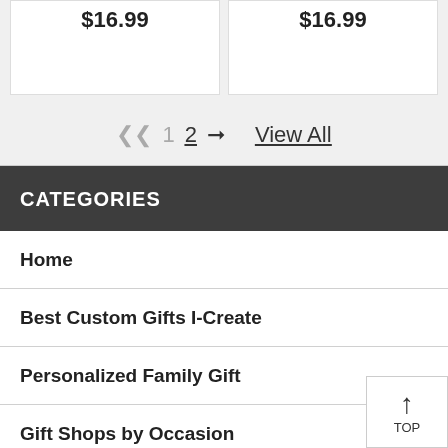$16.99
$16.99
1  2  View All
CATEGORIES
Home
Best Custom Gifts I-Create
Personalized Family Gift
Gift Shops by Occasion
Bear Gift Ideas